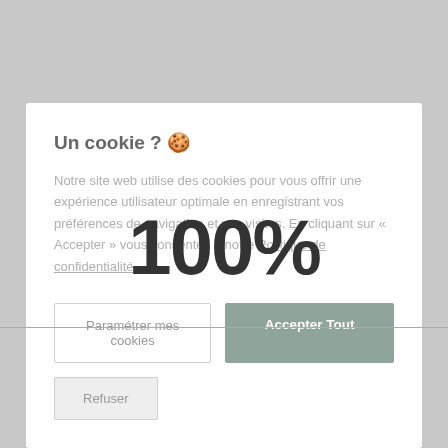Un cookie ? 🍪
Notre site web utilise des cookies pour vous offrir une expérience utilisateur optimale en enregistrant vos préférences de navigation et vos visites. En cliquant sur « Accepter » vous consentez à notre Politique de confidentialité.
[Figure (screenshot): 100% text overlay on top of the cookie consent dialog]
Paramétrer mes cookies
Accepter Tout
Refuser